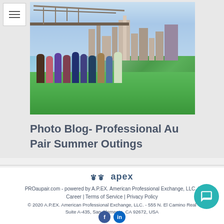[Figure (photo): Group of young women posing outdoors on grass with a bridge and city skyline in the background]
Photo Blog- Professional Au Pair Summer Outings
[Figure (logo): APEX (A.P.EX.) logo with paw print icons and text]
PROaupair.com - powered by A.P.EX. American Professional Exchange, LLC. | Career | Terms of Service | Privacy Policy
© 2020 A.P.EX. American Professional Exchange, LLC. - 555 N. El Camino Real Suite A-435, San Clemente, CA 92672, USA